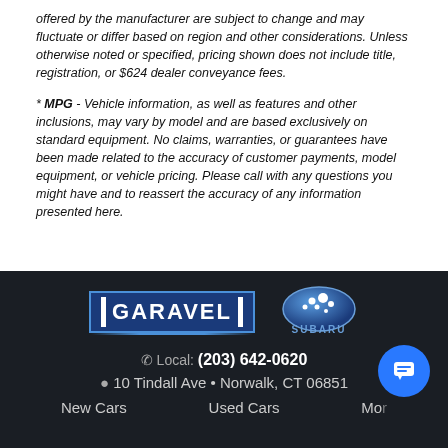offered by the manufacturer are subject to change and may fluctuate or differ based on region and other considerations. Unless otherwise noted or specified, pricing shown does not include title, registration, or $624 dealer conveyance fees.
* MPG - Vehicle information, as well as features and other inclusions, may vary by model and are based exclusively on standard equipment. No claims, warranties, or guarantees have been made related to the accuracy of customer payments, model equipment, or vehicle pricing. Please call with any questions you might have and to reassert the accuracy of any information presented here.
[Figure (logo): Garavel dealer logo and Subaru brand logo side by side in dark footer]
Local: (203) 642-0620
10 Tindall Ave • Norwalk, CT 06851
New Cars   Used Cars   Mo...